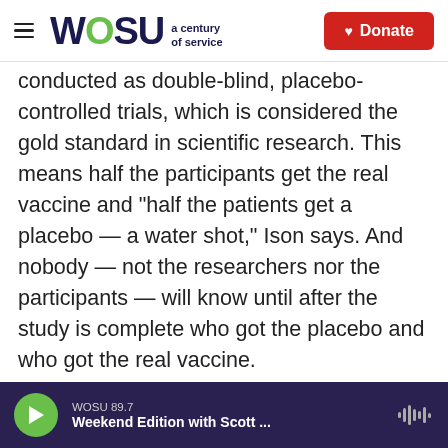WOSU a century of service | Donate
conducted as double-blind, placebo-controlled trials, which is considered the gold standard in scientific research. This means half the participants get the real vaccine and "half the patients get a placebo — a water shot," Ison says. And nobody — not the researchers nor the participants — will know until after the study is complete who got the placebo and who got the real vaccine.

"What we would like to see is that there's a difference in the rate of COVID-19 — with a much lower rate in patients who get the vaccine than in
WOSU 89.7 | Weekend Edition with Scott ...